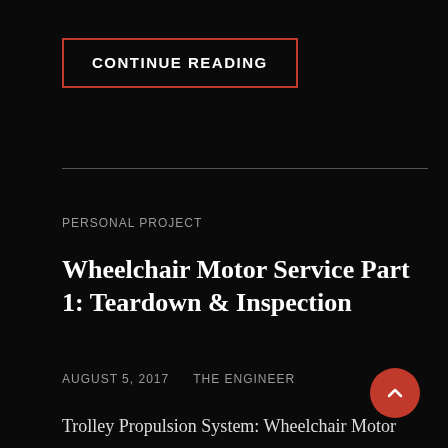CONTINUE READING
PERSONAL PROJECT
Wheelchair Motor Service Part 1: Teardown & Inspection
AUGUST 5, 2017   THE ENGINEER
Trolley Propulsion System: Wheelchair Motor Units So it's time to get the propulsion system underway for the trolley, a pair of wheelchair motors were sourced for this, from HacMan. Since I don't know how many hours are on